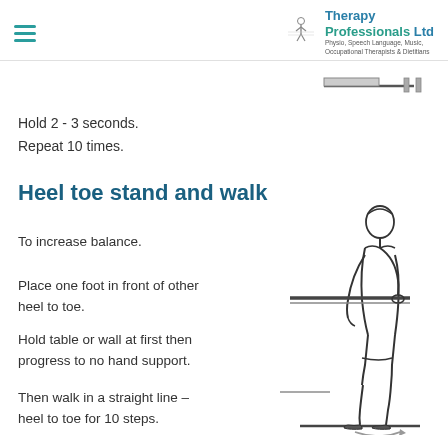Therapy Professionals Ltd — Physio, Speech Language, Music, Occupational Therapists & Dietitians
[Figure (illustration): Top-view diagram showing exercise position with a bar/table edge]
Hold 2 - 3 seconds.
Repeat 10 times.
Heel toe stand and walk
To increase balance.
Place one foot in front of other heel to toe.
Hold table or wall at first then progress to no hand support.
Then walk in a straight line – heel to toe for 10 steps.
[Figure (illustration): Line drawing of a person standing sideways holding a table/counter in heel-to-toe position, with a curved arrow at foot level indicating walking direction]